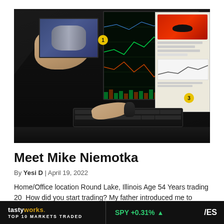[Figure (photo): Man sitting at a multi-monitor trading desk. Left monitor shows a TV broadcast, center monitor shows financial charts, right side shows social media or notes. Numbered badges: 1 near left monitor, 3 near keyboard/mouse area. Person wearing dark t-shirt.]
Meet Mike Niemotka
By Yesi D | April 19, 2022
Home/Office location Round Lake, Illinois Age 54 Years trading 20  How did you start trading? My father introduced me to investing around the age of 13, but it was more…
tastyworks. TOP 10 MARKETS TRADED  SPY +0.31% ▲  /ES